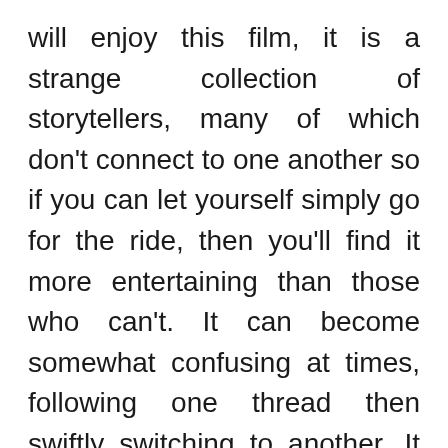will enjoy this film, it is a strange collection of storytellers, many of which don't connect to one another so if you can let yourself simply go for the ride, then you'll find it more entertaining than those who can't. It can become somewhat confusing at times, following one thread then swiftly switching to another. It also has an unexpected taste for the sexual, this is one of the most randy group of middle-aged people you'll find in film.
Unexpectedly, its visual quality reflects the eccentric nature of its story, it has a love of